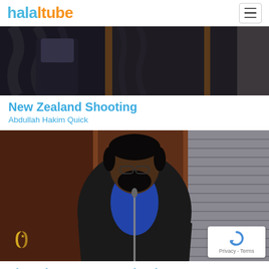halaltube
[Figure (screenshot): Video thumbnail showing dark draped curtains with figures, partial dark scene]
New Zealand Shooting
Abdullah Hakim Quick
[Figure (photo): A man in a dark suit and blue shirt standing at a microphone in what appears to be a mosque or hall, with wooden wall panels and blinds in the background. A channel logo is visible at bottom left and a reCAPTCHA badge at bottom right.]
Thoughts on New Zealand Mosque